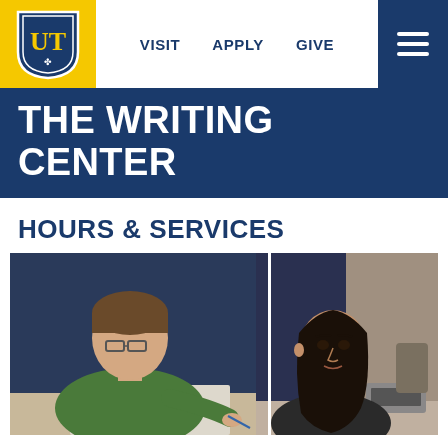VISIT  APPLY  GIVE
THE WRITING CENTER
HOURS & SERVICES
[Figure (photo): Two students in a writing center session: on the left, a young man wearing glasses and a green shirt looks down writing on paper; on the right, a young woman with dark hair in a black jacket looks attentively forward.]
SUMMER 2023 HOURS OF